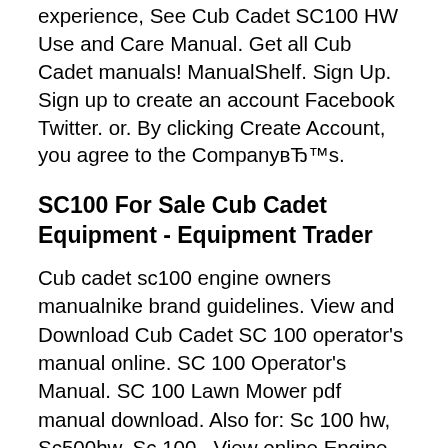experience, See Cub Cadet SC100 HW Use and Care Manual. Get all Cub Cadet manuals! ManualShelf. Sign Up. Sign up to create an account Facebook Twitter. or. By clicking Create Account, you agree to the CompanyвЂ™s.
SC100 For Sale Cub Cadet Equipment - Equipment Trader
Cub cadet sc100 engine owners manualnike brand guidelines. View and Download Cub Cadet SC 100 operator's manual online. SC 100 Operator's Manual. SC 100 Lawn Mower pdf manual download. Also for: Sc 100 hw, Sc500hw, Sc 100., View online Engine shop manual for Cub Cadet SC 100